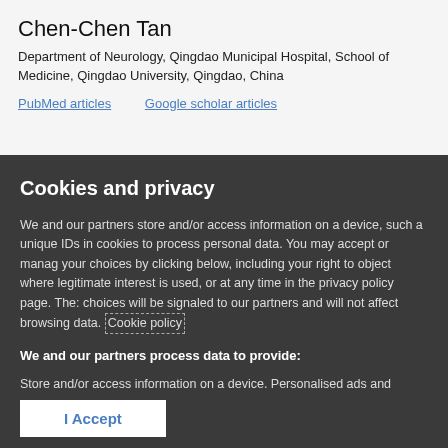Chen-Chen Tan
Department of Neurology, Qingdao Municipal Hospital, School of Medicine, Qingdao University, Qingdao, China
PubMed articles    Google scholar articles
Cookies and privacy
We and our partners store and/or access information on a device, such a unique IDs in cookies to process personal data. You may accept or manage your choices by clicking below, including your right to object where legitimate interest is used, or at any time in the privacy policy page. These choices will be signaled to our partners and will not affect browsing data. Cookie policy
We and our partners process data to provide:
Store and/or access information on a device, Personalised ads and content, ad and content measurement, audience insights and product development, Use precise geolocation data, Actively scan device characteristics for identification
List of Partners (vendors)
I Accept